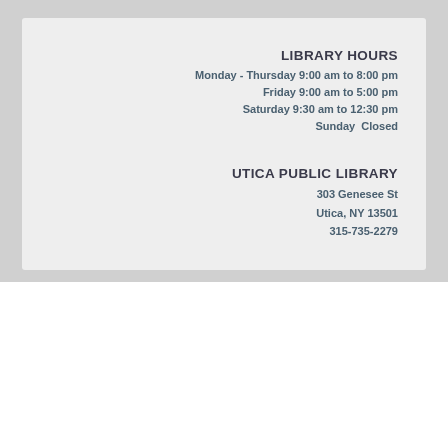LIBRARY HOURS
Monday - Thursday 9:00 am to 8:00 pm
Friday 9:00 am to 5:00 pm
Saturday 9:30 am to 12:30 pm
Sunday  Closed
UTICA PUBLIC LIBRARY
303 Genesee St
Utica, NY 13501
315-735-2279
Copyright © 2022 uticapubliclibrary.org.
All Rights Reserved.
Digital by TRAINOR
FOLLOW US
Utica Public Library
Instagram